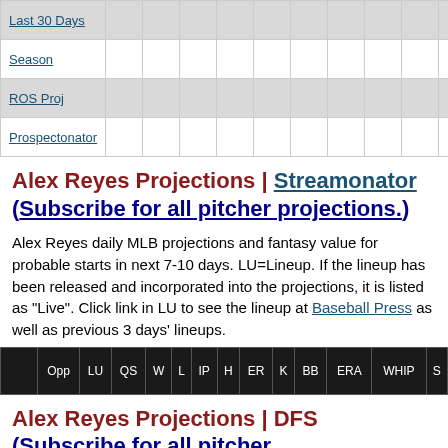|  | Opp | LU | QS | W | L | IP | H | ER | K | BB | ERA | WHIP | S |
| --- | --- | --- | --- | --- | --- | --- | --- | --- | --- | --- | --- | --- | --- |
| Last 30 Days |  |  |  |  |  |  |  |  |  |  |  |  |  |
| Season |  |  |  |  |  |  |  |  |  |  |  |  |  |
| ROS Proj |  |  |  |  |  |  |  |  |  |  |  |  |  |
| Prospectonator |  |  |  |  |  |  |  |  |  |  |  |  |  |
Alex Reyes Projections | Streamonator (Subscribe for all pitcher projections.)
Alex Reyes daily MLB projections and fantasy value for probable starts in next 7-10 days. LU=Lineup. If the lineup has been released and incorporated into the projections, it is listed as "Live". Click link in LU to see the lineup at Baseball Press as well as previous 3 days' lineups.
|  | Opp | LU | QS | W | L | IP | H | ER | K | BB | ERA | WHIP | S |
| --- | --- | --- | --- | --- | --- | --- | --- | --- | --- | --- | --- | --- | --- |
Alex Reyes Projections | DFS (Subscribe for all pitcher